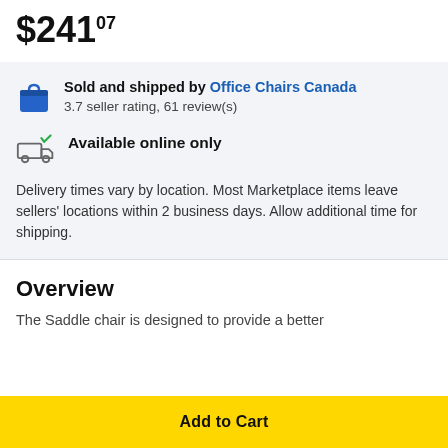$241 07
Sold and shipped by Office Chairs Canada
3.7 seller rating, 61 review(s)
Available online only
Delivery times vary by location. Most Marketplace items leave sellers' locations within 2 business days. Allow additional time for shipping.
Overview
The Saddle chair is designed to provide a better
Add to Cart